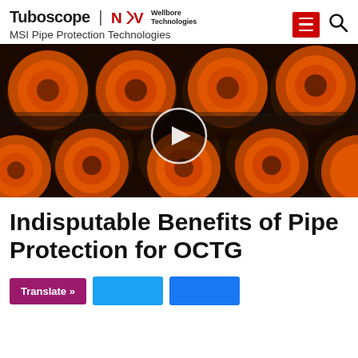Tuboscope | NOV Wellbore Technologies — MSI Pipe Protection Technologies
[Figure (photo): Close-up photograph of steel pipes with orange protective caps/plugs on the ends, stacked together. A video play button overlay is visible in the center.]
Indisputable Benefits of Pipe Protection for OCTG
Translate »